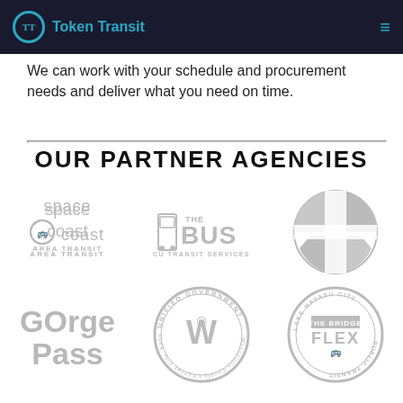Token Transit
We can work with your schedule and procurement needs and deliver what you need on time.
OUR PARTNER AGENCIES
[Figure (logo): Space Coast Area Transit logo (greyscale)]
[Figure (logo): The Bus - CU Transit Services logo (greyscale)]
[Figure (logo): Circular T-shaped transit logo (greyscale)]
[Figure (logo): GOrge Pass logo (greyscale)]
[Figure (logo): Unified Government Wyandotte County Kansas City Kansas circular seal (greyscale)]
[Figure (logo): Lake Havasu City The Bridge Flex Public Transit circular logo (greyscale)]